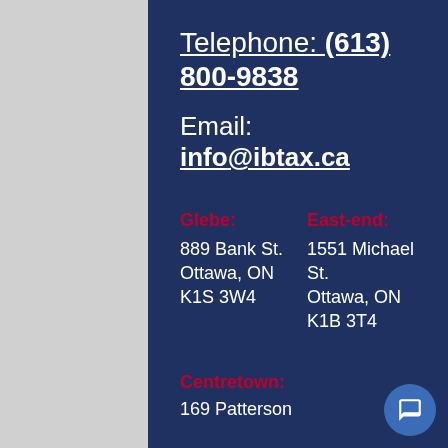Telephone: (613) 800-9838
Email: info@ibtax.ca
Glebe:
889 Bank St.
Ottawa, ON
K1S 3W4
East-end:
1551 Michael St.
Ottawa, ON
K1B 3T4
Centretown:
169 Patterson